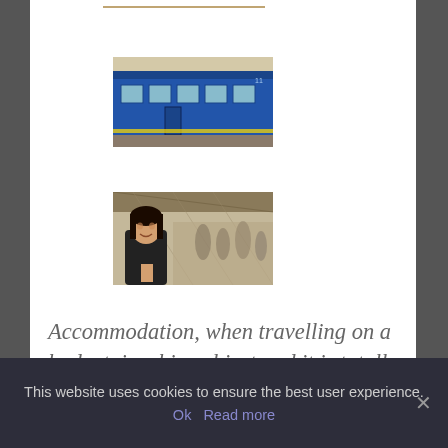[Figure (photo): Partial image visible at the very top of the page, cropped]
[Figure (photo): Photo of a blue Indian railway train car with windows]
[Figure (photo): Photo of a smiling woman at a busy train station with blurred crowd in background]
Accommodation, when travelling on a budget, is a big subject and it is totally unpredictable. Most days I don't even know where I will end up sleeping.
This website uses cookies to ensure the best user experience.
Ok   Read more